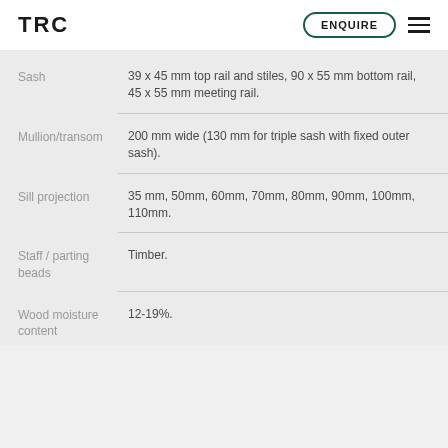TRC  ENQUIRE
| Property | Value |
| --- | --- |
| Sash | 39 x 45 mm top rail and stiles, 90 x 55 mm bottom rail, 45 x 55 mm meeting rail. |
| Mullion/transom | 200 mm wide (130 mm for triple sash with fixed outer sash). |
| Sill projection | 35 mm, 50mm, 60mm, 70mm, 80mm, 90mm, 100mm, 110mm. |
| Staff / parting beads | Timber. |
| Wood moisture content | 12-19%. |